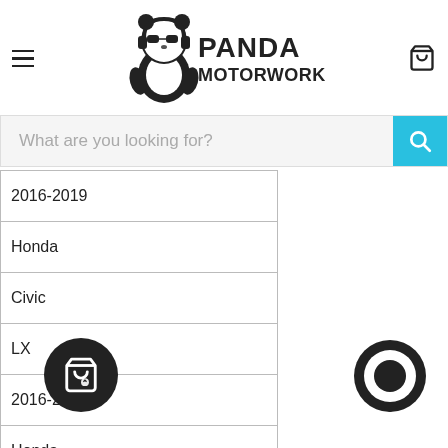[Figure (logo): Panda Motorworks logo with panda wearing sunglasses and headphones, text PANDA MOTORWORKS]
What are you looking for?
| 2016-2019 |
| Honda |
| Civic |
| LX |
| 2016-2018 |
| Honda |
| Civic |
| LX |
| 2008 |
| Honda |